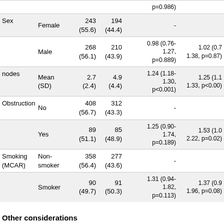|  |  | Col1 | Col2 | Unadj OR | Adj OR |
| --- | --- | --- | --- | --- | --- |
|  |  | (−) | (−) | p=0.986) |  |
| Sex | Female | 243 (55.6) | 194 (44.4) | - |  |
|  | Male | 268 (56.1) | 210 (43.9) | 0.98 (0.76-1.27, p=0.889) | 1.02 (0.7 1.38, p=0.87) |
| nodes | Mean (SD) | 2.7 (2.4) | 4.9 (4.4) | 1.24 (1.18-1.30, p<0.001) | 1.25 (1.1 1.33, p<0.00) |
| Obstruction | No | 408 (56.7) | 312 (43.3) | - |  |
|  | Yes | 89 (51.1) | 85 (48.9) | 1.25 (0.90-1.74, p=0.189) | 1.53 (1.0 2.22, p=0.02) |
| Smoking (MCAR) | Non-smoker | 358 (56.4) | 277 (43.6) | - |  |
|  | Smoker | 90 (49.7) | 91 (50.3) | 1.31 (0.94-1.82, p=0.113) | 1.37 (0.9 1.96, p=0.08) |
Other considerations